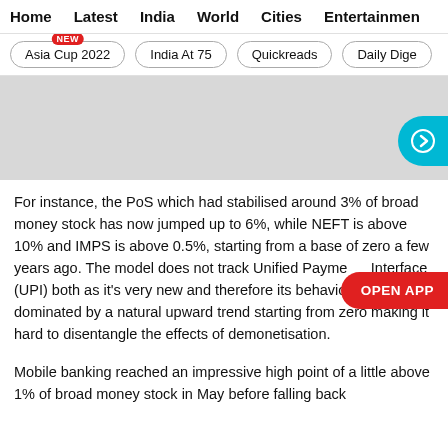Home  Latest  India  World  Cities  Entertainment
Asia Cup 2022  India At 75  Quickreads  Daily Dige
[Figure (other): Gray image placeholder with a teal circular arrow button on the right side]
For instance, the PoS which had stabilised around 3% of broad money stock has now jumped up to 6%, while NEFT is above 10% and IMPS is above 0.5%, starting from a base of zero a few years ago. The model does not track Unified Payment Interface (UPI) both as it's very new and therefore its behaviour is dominated by a natural upward trend starting from zero making it hard to disentangle the effects of demonetisation.
Mobile banking reached an impressive high point of a little above 1% of broad money stock in May before falling back